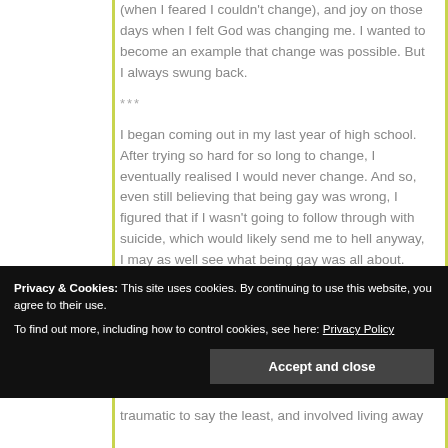(when I feared I couldn't change), and joy on those days when I felt God was changing me. I wanted to become an example that change was possible. But I always swung back.
***
I began coming out in my last year of high school. After trying so hard for so long to change, I eventually realised I would never change. And so, even still believing that being gay was wrong, I figured that if I wasn't going to follow through with suicide, which would likely send me to hell anyway, I may as well see what being gay was all about.
One night, after walking up and down Auckland's K-Rd for hours to build up the courage, I walked into Family Bar, knowing it as a gay venue. The next day I
Privacy & Cookies: This site uses cookies. By continuing to use this website, you agree to their use.
To find out more, including how to control cookies, see here: Privacy Policy
traumatic to say the least, and involved living away